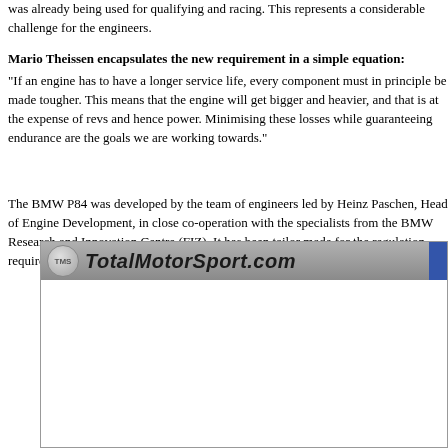was already being used for qualifying and racing. This represents a considerable challenge for the engineers.
Mario Theissen encapsulates the new requirement in a simple equation:
"If an engine has to have a longer service life, every component must in principle be made tougher. This means that the engine will get bigger and heavier, and that is at the expense of revs and hence power. Minimising these losses while guaranteeing endurance are the goals we are working towards."
The BMW P84 was developed by the team of engineers led by Heinz Paschen, Head of Engine Development, in close co-operation with the specialists from the BMW Research and Innovation Centre (FIZ). It has been tailor made for the regulation requirements of the 2004 season.
[Figure (screenshot): Screenshot of TotalMotorSport.com website header with logo and site name on a grey gradient background bar]